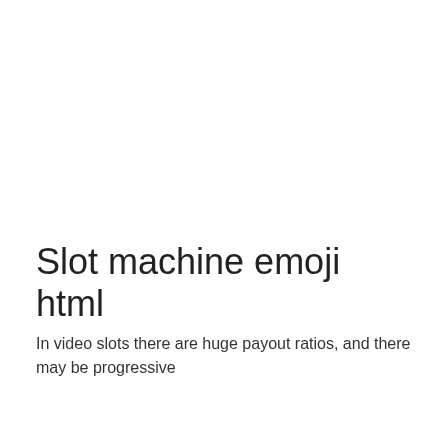Slot machine emoji html
In video slots there are huge payout ratios, and there may be progressive